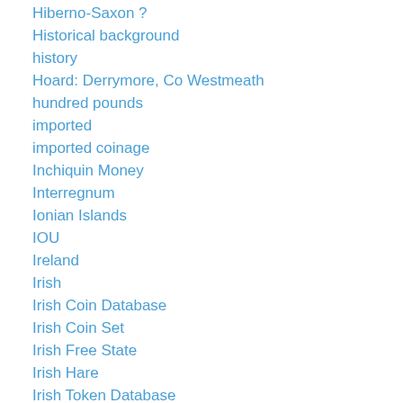Hiberno-Saxon ?
Historical background
history
Hoard: Derrymore, Co Westmeath
hundred pounds
imported
imported coinage
Inchiquin Money
Interregnum
Ionian Islands
IOU
Ireland
Irish
Irish Coin Database
Irish Coin Set
Irish Free State
Irish Hare
Irish Token Database
Iron Age
irregular flan